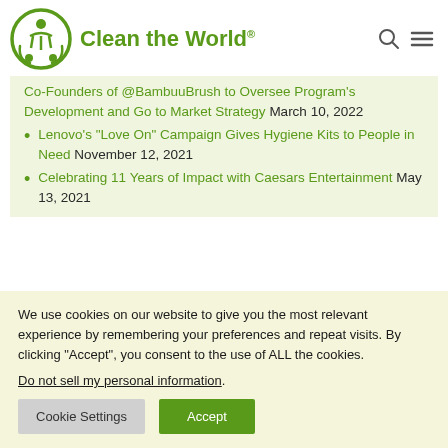Clean the World
Co-Founders of @BambuuBrush to Oversee Program's Development and Go to Market Strategy March 10, 2022
Lenovo's “Love On” Campaign Gives Hygiene Kits to People in Need November 12, 2021
Celebrating 11 Years of Impact with Caesars Entertainment May 13, 2021
We use cookies on our website to give you the most relevant experience by remembering your preferences and repeat visits. By clicking “Accept”, you consent to the use of ALL the cookies.
Do not sell my personal information.